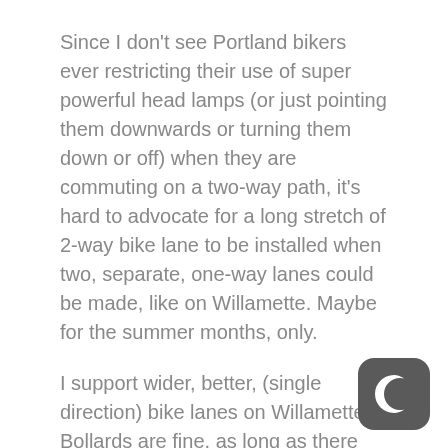Since I don't see Portland bikers ever restricting their use of super powerful head lamps (or just pointing them downwards or turning them down or off) when they are commuting on a two-way path, it's hard to advocate for a long stretch of 2-way bike lane to be installed when two, separate, one-way lanes could be made, like on Willamette. Maybe for the summer months, only.
I support wider, better, (single direction) bike lanes on Willamette. Bollards are fine, as long as there remain sufficient room for passing other cyclists and joggers.
👍 0   ➜ Reply   ∧
[Figure (logo): Dark rounded square icon with a crescent moon symbol in white]